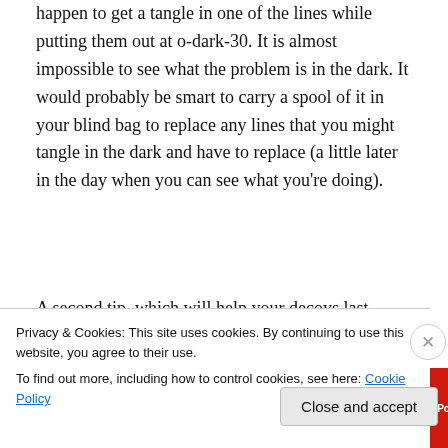happen to get a tangle in one of the lines while putting them out at o-dark-30. It is almost impossible to see what the problem is in the dark. It would probably be smart to carry a spool of it in your blind bag to replace any lines that you might tangle in the dark and have to replace (a little later in the day when you can see what you're doing).
[Figure (screenshot): Advertisement banner for Pocket Casts app. Red background with text 'An app by listeners, for listeners.' and Pocket Casts logo on the right. A phone image in the center-right area.]
A second tip, which will help your decoys last longer, is to give them a couple of light coats of Krylon 1311 clear matt
Privacy & Cookies: This site uses cookies. By continuing to use this website, you agree to their use.
To find out more, including how to control cookies, see here: Cookie Policy